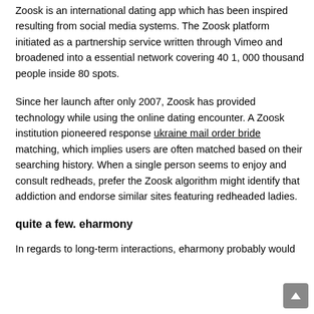Zoosk is an international dating app which has been inspired resulting from social media systems. The Zoosk platform initiated as a partnership service written through Vimeo and broadened into a essential network covering 40 1, 000 thousand people inside 80 spots.
Since her launch after only 2007, Zoosk has provided technology while using the online dating encounter. A Zoosk institution pioneered response ukraine mail order bride matching, which implies users are often matched based on their searching history. When a single person seems to enjoy and consult redheads, prefer the Zoosk algorithm might identify that addiction and endorse similar sites featuring redheaded ladies.
quite a few. eharmony
In regards to long-term interactions, eharmony probably would